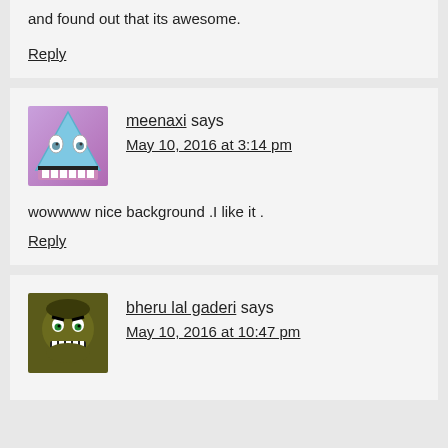and found out that its awesome.
Reply
meenaxi says
May 10, 2016 at 3:14 pm
wowwww nice background .I like it .
Reply
bheru lal gaderi says
May 10, 2016 at 10:47 pm